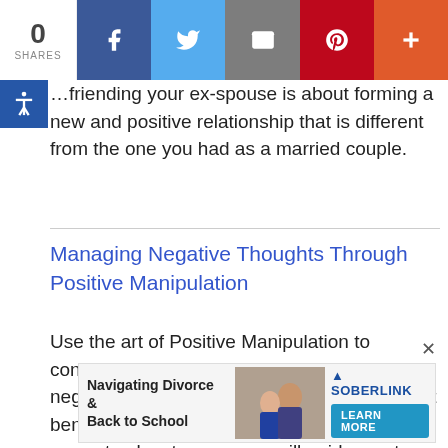[Figure (screenshot): Social media share bar with 0 shares, Facebook, Twitter, Email, Pinterest, and More buttons]
…friending your ex-spouse is about forming a new and positive relationship that is different from the one you had as a married couple.
Managing Negative Thoughts Through Positive Manipulation
Use the art of Positive Manipulation to consciously shift yourself away from a negative state of being and make choices that benefit you, your ex and your children. This easy step by step process will guide you to a happier and sound life.
[Figure (screenshot): Advertisement banner: Navigating Divorce & Back to School by SOBERLINK with LEARN MORE button]